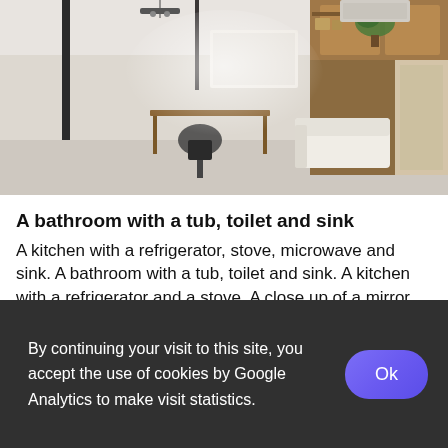[Figure (photo): Wide-angle / 360-degree interior photo of a modern living/studio room with wooden furniture, a desk with a chair, white sofa, shelving, and track lighting on the ceiling. Warm neutral tones.]
A bathroom with a tub, toilet and sink
A kitchen with a refrigerator, stove, microwave and sink. A bathroom with a tub, toilet and sink. A kitchen with a refrigerator and a stove. A close up of a mirror on a wall
By continuing your visit to this site, you accept the use of cookies by Google Analytics to make visit statistics.